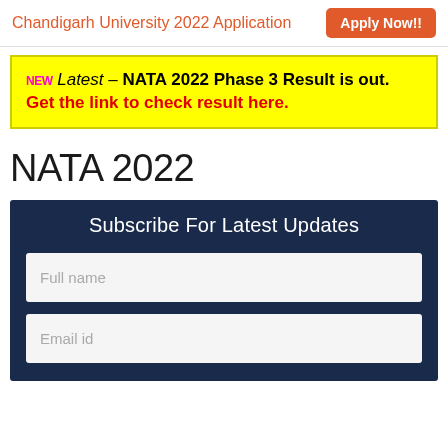Chandigarh University 2022 Application   Apply Now!!
NEW Latest – NATA 2022 Phase 3 Result is out. Get the link to check result here.
NATA 2022
Subscribe For Latest Updates
Full name
Email id